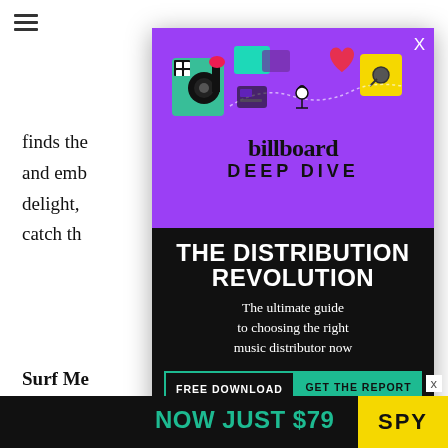finds the ... oubt and emb... r a fizzy delight, ... udio — catch th... verses.
Surf Me
[Figure (screenshot): Billboard Deep Dive advertisement popup overlay featuring TikTok-themed illustration, purple header section with Billboard logo and 'DEEP DIVE' text, black lower section with 'THE DISTRIBUTION REVOLUTION' headline, subtitle 'The ultimate guide to choosing the right music distributor now', and buttons 'FREE DOWNLOAD' and 'GET THE REPORT', plus bottom strip 'NOW JUST $79' and SPY logo]
NOW JUST $79
SPY